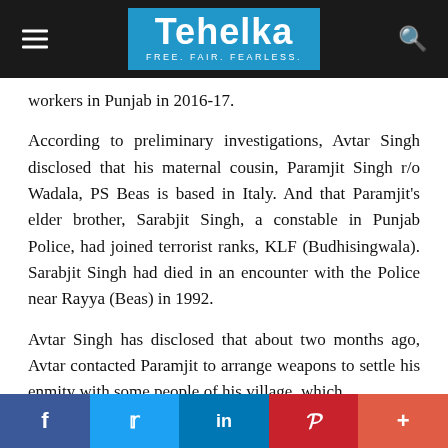Tehelka — FREE. FAIR. FEARLESS.
workers in Punjab in 2016-17.
According to preliminary investigations, Avtar Singh disclosed that his maternal cousin, Paramjit Singh r/o Wadala, PS Beas is based in Italy. And that Paramjit's elder brother, Sarabjit Singh, a constable in Punjab Police, had joined terrorist ranks, KLF (Budhisingwala). Sarabjit Singh had died in an encounter with the Police near Rayya (Beas) in 1992.
Avtar Singh has disclosed that about two months ago, Avtar contacted Paramjit to arrange weapons to settle his enmity with some people of his village, which
f  t  in  P  +